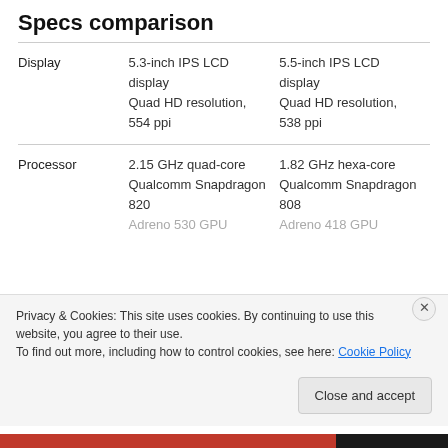Specs comparison
|  | Column 1 | Column 2 |
| --- | --- | --- |
| Display | 5.3-inch IPS LCD display
Quad HD resolution, 554 ppi | 5.5-inch IPS LCD display
Quad HD resolution, 538 ppi |
| Processor | 2.15 GHz quad-core Qualcomm Snapdragon 820
Adreno 530 GPU | 1.82 GHz hexa-core Qualcomm Snapdragon 808
Adreno 418 GPU |
Privacy & Cookies: This site uses cookies. By continuing to use this website, you agree to their use.
To find out more, including how to control cookies, see here: Cookie Policy